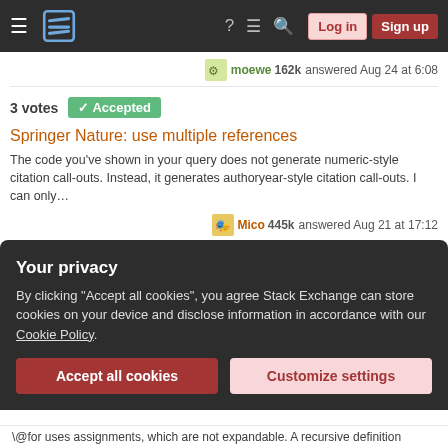Stack Exchange navigation bar with Log in and Sign up buttons
moewe 162k answered Aug 24 at 6:08
3 votes  Accepted
Springer Nature: use multiple references
The code you’ve shown in your query does not generate numeric-style citation call-outs. Instead, it generates authoryear-style citation call-outs. I can only…
Mico 445k answered Aug 21 at 17:12
1 vote  Accepted
citations in Medical Image Analsys template does not work with Latex compiler 2021/2020
Your privacy
By clicking “Accept all cookies”, you agree Stack Exchange can store cookies on your device and disclose information in accordance with our Cookie Policy.
Accept all cookies
Customize settings
\@for uses assignments, which are not expandable. A recursive definition